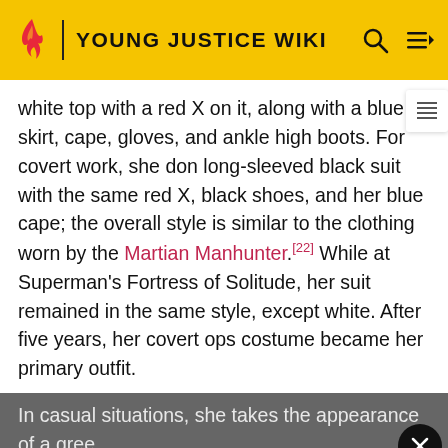YOUNG JUSTICE WIKI
white top with a red X on it, along with a blue skirt, cape, gloves, and ankle high boots. For covert work, she don long-sleeved black suit with the same red X, black shoes, and her blue cape; the overall style is similar to the clothing worn by the Martian Manhunter.[22] While at Superman's Fortress of Solitude, her suit remained in the same style, except white. After five years, her covert ops costume became her primary outfit.
In casual situations, she takes the appearance of a green-skinned ... light pink T-shirt ... white k... es, and a headl... t, and headband are either red, purple, or blue. She can use he
[Figure (screenshot): Advertisement overlay: Verizon logo on left, 'Join Xbox All Access.' text on right, with close (X) button in top-right corner. Background is light gray (#f0f0f0).]